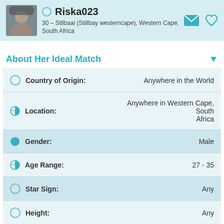[Figure (photo): Profile photo of Riska023, a person wearing a hat, shown as thumbnail]
Riska023
30 – Stilbaai (Stillbay westerncape), Western Cape, South Africa
About Her Ideal Match
| Field | Value |
| --- | --- |
| Country of Origin: | Anywhere in the World |
| Location: | Anywhere in Western Cape, South Africa |
| Gender: | Male |
| Age Range: | 27 - 35 |
| Star Sign: | Any |
| Height: | Any |